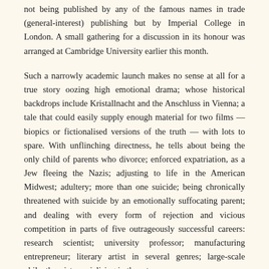not being published by any of the famous names in trade (general-interest) publishing but by Imperial College in London. A small gathering for a discussion in its honour was arranged at Cambridge University earlier this month.
Such a narrowly academic launch makes no sense at all for a true story oozing high emotional drama; whose historical backdrops include Kristallnacht and the Anschluss in Vienna; a tale that could easily supply enough material for two films — biopics or fictionalised versions of the truth — with lots to spare. With unflinching directness, he tells about being the only child of parents who divorce; enforced expatriation, as a Jew fleeing the Nazis; adjusting to life in the American Midwest; adultery; more than one suicide; being chronically threatened with suicide by an emotionally suffocating parent; and dealing with every form of rejection and vicious competition in parts of five outrageously successful careers: research scientist; university professor; manufacturing entrepreneur; literary artist in several genres; large-scale philanthropist specialising in the arts.
Why did conventional publishers decline to make an offer for a reconsideration of this particular personal history? Because – as he told us at post-Gutenberg, they thought that book buyers would